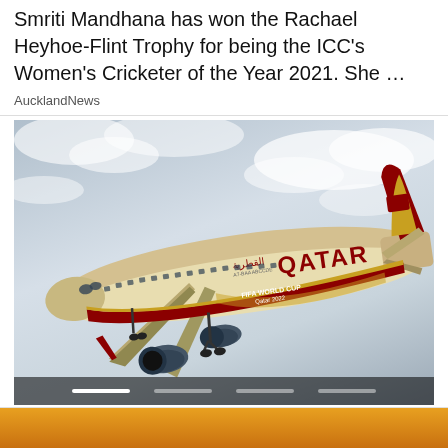Smriti Mandhana has won the Rachael Heyhoe-Flint Trophy for being the ICC's Women's Cricketer of the Year 2021. She …
AucklandNews
[Figure (photo): A Qatar Airways Boeing 777 aircraft in flight against a cloudy sky. The plane features special FIFA World Cup Qatar 2022 livery on its tail and lower fuselage, with the Qatar Airways logo and 'QATAR' branding visible on the white/gold upper fuselage. Carousel navigation dots are visible at the bottom of the image.]
[Figure (photo): Partial bottom strip showing what appears to be another news article image, partially cut off at the bottom of the page.]